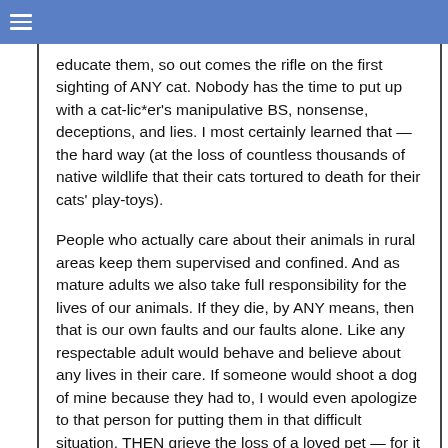≡
educate them, so out comes the rifle on the first sighting of ANY cat. Nobody has the time to put up with a cat-lic*er's manipulative BS, nonsense, deceptions, and lies. I most certainly learned that — the hard way (at the loss of countless thousands of native wildlife that their cats tortured to death for their cats' play-toys).
People who actually care about their animals in rural areas keep them supervised and confined. And as mature adults we also take full responsibility for the lives of our animals. If they die, by ANY means, then that is our own faults and our faults alone. Like any respectable adult would behave and believe about any lives in their care. If someone would shoot a dog of mine because they had to, I would even apologize to that person for putting them in that difficult situation, THEN grieve the loss of a loved pet — for it having been MY fault.
You can tell who actually loves their pets in rural areas — their pets are still alive.